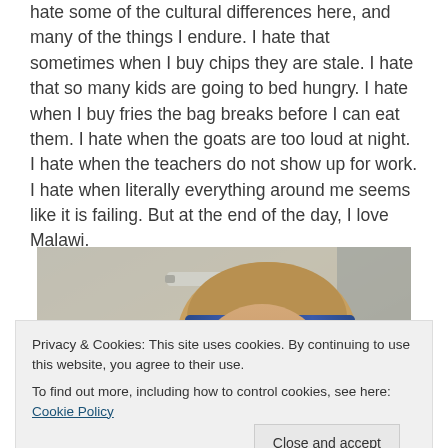hate some of the cultural differences here, and many of the things I endure. I hate that sometimes when I buy chips they are stale. I hate that so many kids are going to bed hungry. I hate when I buy fries the bag breaks before I can eat them. I hate when the goats are too loud at night. I hate when the teachers do not show up for work. I hate when literally everything around me seems like it is failing. But at the end of the day, I love Malawi.
[Figure (photo): A person wearing a blue bandana/headband with white stars, appearing to take a selfie in a vehicle. The image is cropped showing mostly the face and upper body.]
Privacy & Cookies: This site uses cookies. By continuing to use this website, you agree to their use.
To find out more, including how to control cookies, see here: Cookie Policy
Close and accept